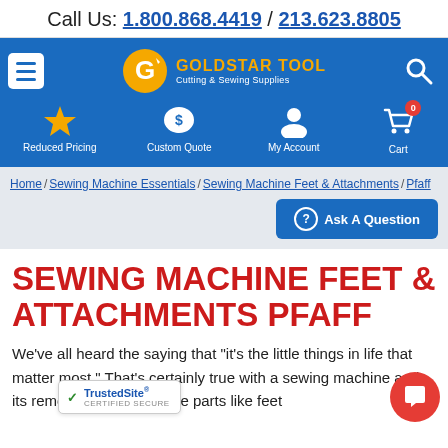Call Us: 1.800.868.4419 / 213.623.8805
[Figure (logo): Goldstar Tool logo with hamburger menu and search icon on blue background with navigation icons: Reduced Pricing, Custom Quote, My Account, Cart (0)]
Home / Sewing Machine Essentials / Sewing Machine Feet & Attachments / Pfaff
Ask A Question
SEWING MACHINE FEET & ATTACHMENTS PFAFF
We've all heard the saying that "it's the little things in life that matter most." That's certainly true with a sewing machine and its removable pieces. Little parts like feet